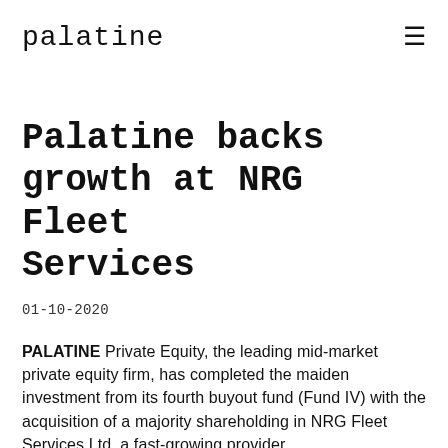palatine
Palatine backs growth at NRG Fleet Services
01-10-2020
PALATINE Private Equity, the leading mid-market private equity firm, has completed the maiden investment from its fourth buyout fund (Fund IV) with the acquisition of a majority shareholding in NRG Fleet Services Ltd, a fast-growing provider